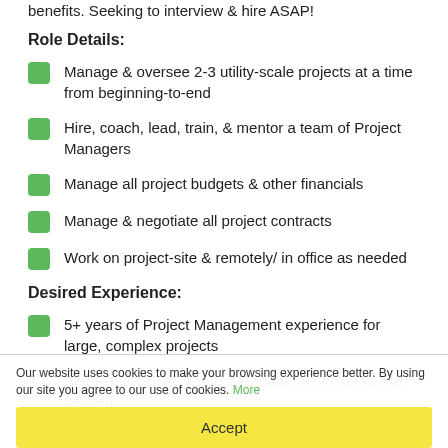benefits. Seeking to interview & hire ASAP!
Role Details:
Manage & oversee 2-3 utility-scale projects at a time from beginning-to-end
Hire, coach, lead, train, & mentor a team of Project Managers
Manage all project budgets & other financials
Manage & negotiate all project contracts
Work on project-site & remotely/ in office as needed
Desired Experience:
5+ years of Project Management experience for large, complex projects
Self-Perform EPC Project Management experience desired
Strong project finance experience for projects with large, complex budgets
Our website uses cookies to make your browsing experience better. By using our site you agree to our use of cookies. More
Accept